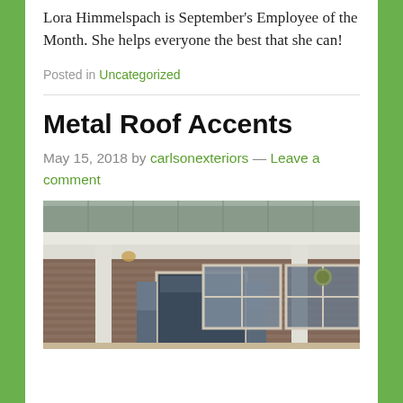Lora Himmelspach is September's Employee of the Month. She helps everyone the best that she can!
Posted in Uncategorized
Metal Roof Accents
May 15, 2018 by carlsonexteriors — Leave a comment
[Figure (photo): Photo of a house exterior showing a metal roof accent over a front porch with brick facade, white columns, a dark blue front door with sidelights, and decorative windows.]